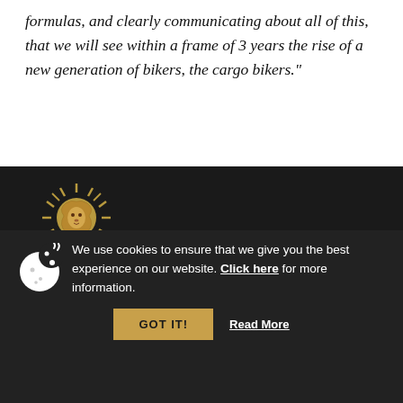formulas, and clearly communicating about all of this, that we will see within a frame of 3 years the rise of a new generation of bikers, the cargo bikers."
[Figure (logo): Publicis Groupe lion logo in gold on dark background with text PUBLICIS GROUPE below]
Publicis Groupe
Gare Maritime – Tour & Taxis Rue Picard straat 7 – mailbox 095
We use cookies to ensure that we give you the best experience on our website. Click here for more information. GOT IT! Read More